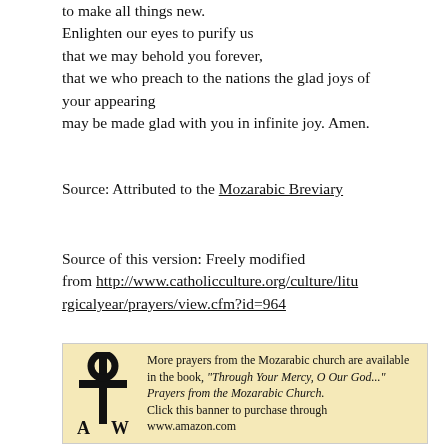to make all things new.
Enlighten our eyes to purify us
that we may behold you forever,
that we who preach to the nations the glad joys of your appearing
may be made glad with you in infinite joy. Amen.
Source: Attributed to the Mozarabic Breviary
Source of this version: Freely modified from http://www.catholicculture.org/culture/liturgicalyear/prayers/view.cfm?id=964
[Figure (other): Banner advertisement for 'Through Your Mercy, O Our God...' Prayers from the Mozarabic Church book, with a Chi-Rho style logo on the left and text on the right on a parchment-colored background.]